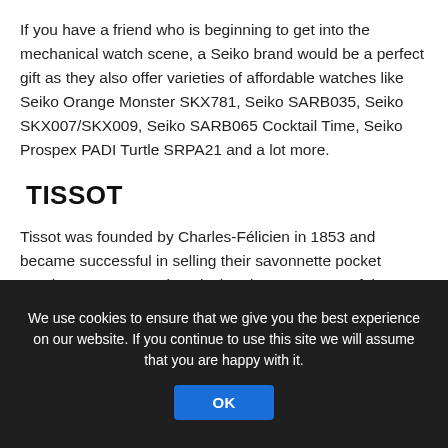If you have a friend who is beginning to get into the mechanical watch scene, a Seiko brand would be a perfect gift as they also offer varieties of affordable watches like Seiko Orange Monster SKX781, Seiko SARB035, Seiko SKX007/SKX009, Seiko SARB065 Cocktail Time, Seiko Prospex PADI Turtle SRPA21 and a lot more.
TISSOT
Tissot was founded by Charles-Félicien in 1853 and became successful in selling their savonnette pocket watches across Russia. It is then known as one of the luxury brands from Switzerland, and today has
We use cookies to ensure that we give you the best experience on our website. If you continue to use this site we will assume that you are happy with it.